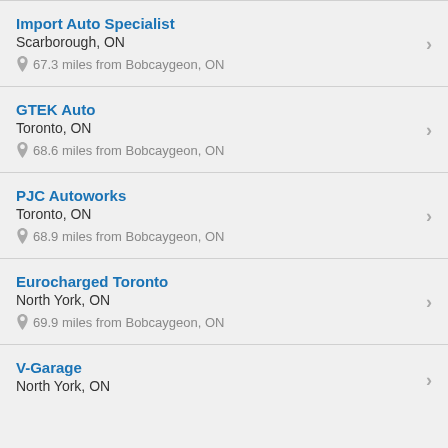Import Auto Specialist
Scarborough, ON
67.3 miles from Bobcaygeon, ON
GTEK Auto
Toronto, ON
68.6 miles from Bobcaygeon, ON
PJC Autoworks
Toronto, ON
68.9 miles from Bobcaygeon, ON
Eurocharged Toronto
North York, ON
69.9 miles from Bobcaygeon, ON
V-Garage
North York, ON